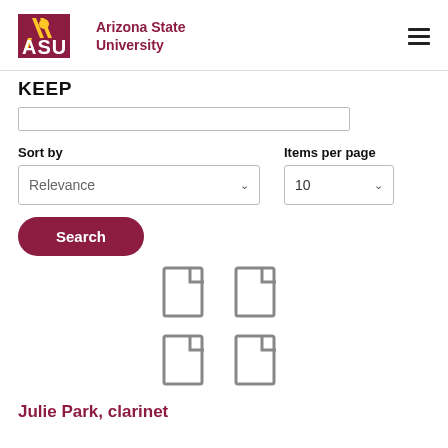[Figure (logo): Arizona State University logo with ASU text and sunburst mark]
KEEP
Sort by
Items per page
Relevance
10
Search
[Figure (illustration): Four document/file icons arranged in a 2x2 grid]
Julie Park, clarinet